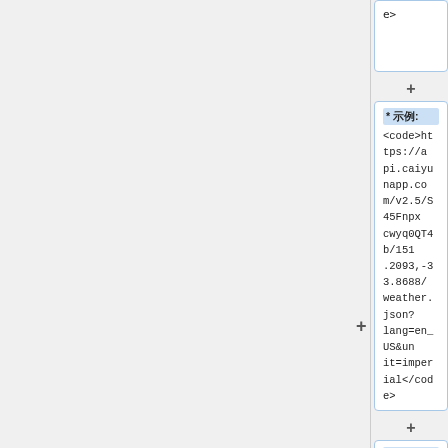e>
* 示例: <code>https://api.caiyunapp.com/v2.5/S45FnpxcwyQ0QT4b/151.2093,-33.8688/weather.json?lang=en_US&unit=imperial</code>
* 示例: <code>https://api.caiyunapp.com/v2.5/S45FnpxcwyQ0QT4b/18.4241,-33.9249/weather.json?lang=en_US&unit=imperial</code>